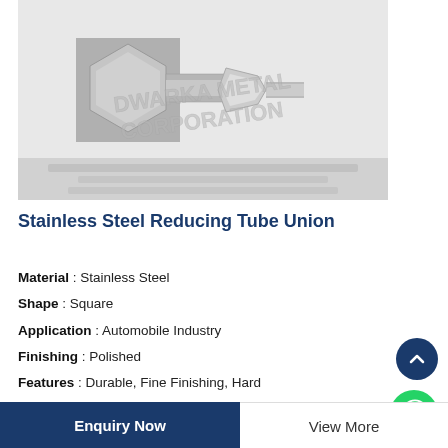[Figure (photo): Stainless steel reducing tube union fittings, metallic silver color, with watermark text 'DWARKA METAL CORPORATION']
Stainless Steel Reducing Tube Union
Material: Stainless Steel
Shape: Square
Application: Automobile Industry
Finishing: Polished
Features: Durable, Fine Finishing, Hard
Enquiry Now | View More